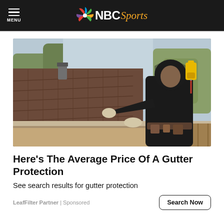MENU | NBC Sports
[Figure (photo): A worker in a black hoodie and work gloves installing or inspecting a gutter on a rooftop, holding a power drill, with trees and a house visible in the background.]
Here's The Average Price Of A Gutter Protection
See search results for gutter protection
LeafFilter Partner | Sponsored
Search Now